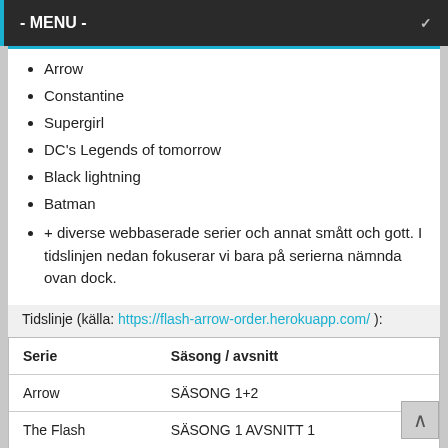- MENU -
Arrow
Constantine
Supergirl
DC's Legends of tomorrow
Black lightning
Batman
+ diverse webbaserade serier och annat smått och gott. I tidslinjen nedan fokuserar vi bara på serierna nämnda ovan dock.
Tidslinje (källa: https://flash-arrow-order.herokuapp.com/ ):
| Serie | Säsong / avsnitt |
| --- | --- |
| Arrow | SÄSONG 1+2 |
| The Flash | SÄSONG 1 AVSNITT 1 |
| Arrow | SÄSONG 3 AVSNITT 1 |